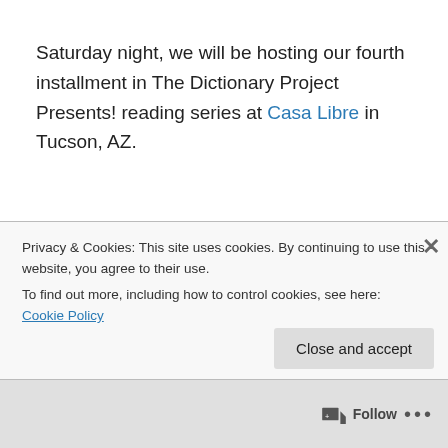Saturday night, we will be hosting our fourth installment in The Dictionary Project Presents! reading series at Casa Libre in Tucson, AZ.
As with the project itself, the reading series is rooted in serendipity, play, and love of language. For The Dictionary Project Presents! reading, our readers get the same word two weeks prior to the event and in that time, compose a piece to share with a live audience that is born from that
Privacy & Cookies: This site uses cookies. By continuing to use this website, you agree to their use.
To find out more, including how to control cookies, see here: Cookie Policy
Close and accept
Follow ···